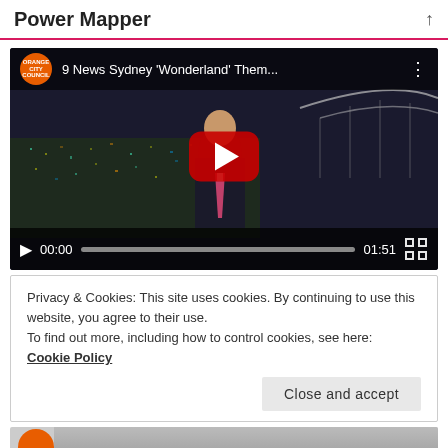Power Mapper
[Figure (screenshot): YouTube video embed showing a news anchor on a dark city background with the title '9 News Sydney ‘Wonderland’ Them...' visible at top. A red YouTube play button is centered. Video controls show 00:00 timestamp and 01:51 duration.]
Privacy & Cookies: This site uses cookies. By continuing to use this website, you agree to their use.
To find out more, including how to control cookies, see here:
Cookie Policy
[Figure (screenshot): Bottom strip showing an orange circle logo and a partially visible person thumbnail]